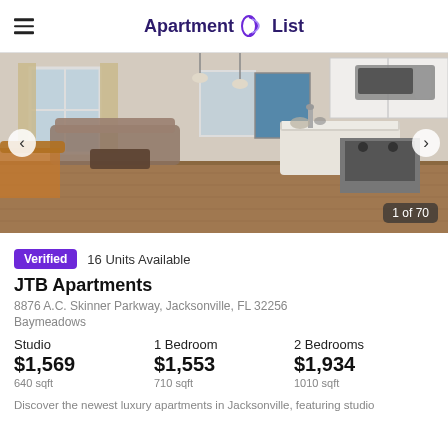Apartment List
[Figure (photo): Interior photo of a modern apartment kitchen/living room with white cabinets, marble island, stainless steel appliances, and hardwood floors. Photo carousel showing 1 of 70.]
Verified  16 Units Available
JTB Apartments
8876 A.C. Skinner Parkway, Jacksonville, FL 32256
Baymeadows
| Studio | 1 Bedroom | 2 Bedrooms |
| --- | --- | --- |
| $1,569 | $1,553 | $1,934 |
| 640 sqft | 710 sqft | 1010 sqft |
Discover the newest luxury apartments in Jacksonville, featuring studio